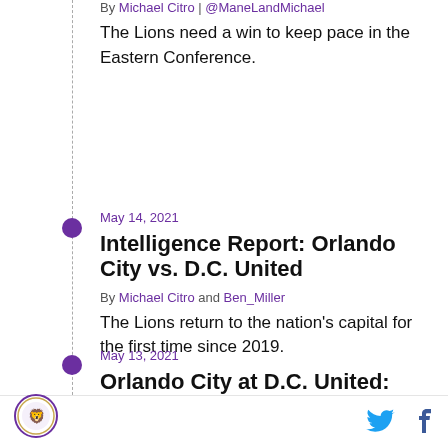By Michael Citro | @ManeLandMichael
The Lions need a win to keep pace in the Eastern Conference.
May 14, 2021
Intelligence Report: Orlando City vs. D.C. United
By Michael Citro and Ben_Miller
The Lions return to the nation’s capital for the first time since 2019.
May 13, 2021
Orlando City at D.C. United: Three Keys to